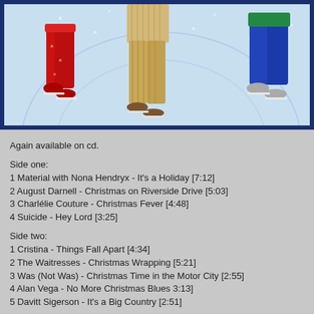[Figure (illustration): Cropped illustration of ice skaters on a light blue snowy rink background, showing legs and lower bodies of three people in colorful clothing (red outfit on left, beige/tan striped suit in center, blue pants on right), with ice skating blades visible. Framed with a dark navy blue border.]
Again available on cd.
Side one:
1 Material with Nona Hendryx - It's a Holiday [7:12]
2 August Darnell - Christmas on Riverside Drive [5:03]
3 Charlélie Couture - Christmas Fever [4:48]
4 Suicide - Hey Lord [3:25]
Side two:
1 Cristina - Things Fall Apart [4:34]
2 The Waitresses - Christmas Wrapping [5:21]
3 Was (Not Was) - Christmas Time in the Motor City [2:55]
4 Alan Vega - No More Christmas Blues 3:13]
5 Davitt Sigerson - It's a Big Country [2:51]
In the same year I bought another sampler Chantons Noël, Ghost of Christmas Past Belgium Les Disques Du Crepuscule label. I lost it. Who has a copy?
[Listen low quality]